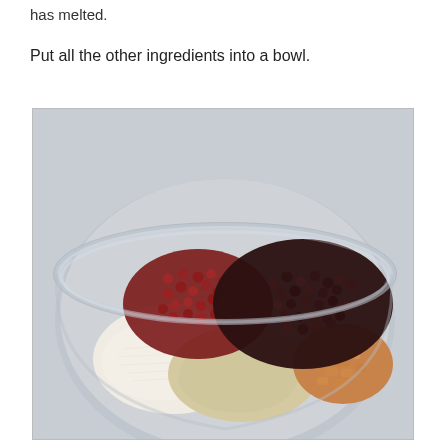has melted.
Put all the other ingredients into a bowl.
[Figure (photo): A glass bowl viewed from above containing a mixture of dried fruits including dark raisins/currants and red cranberries, desiccated coconut (white shredded), fine breadcrumbs or ground oats (beige powder), and chopped dried apricots (orange pieces) arranged in separate piles within the bowl on a grey background.]